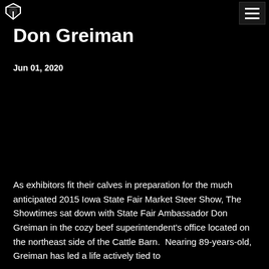Don Greiman
Jun 01, 2020
As exhibitors fit their calves in preparation for the much anticipated 2015 Iowa State Fair Market Steer Show, The Showtimes sat down with State Fair Ambassador Don Greiman in the cozy beef superintendent's office located on the northeast side of the Cattle Barn.  Nearing 89-years-old, Greiman has led a life actively tied to